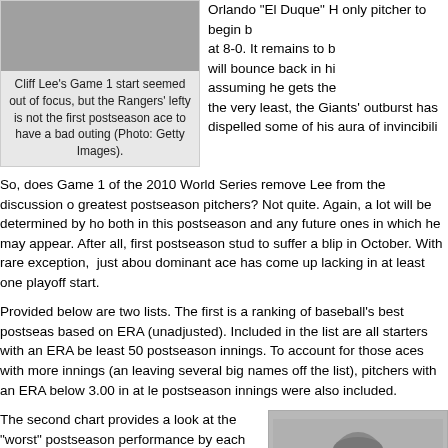[Figure (photo): Black and white photo of Cliff Lee, partially cropped at top]
Cliff Lee's Game 1 start seemed out of focus, but the Rangers' lefty is not the first postseason ace to have a bad outing (Photo: Getty Images).
Orlando "El Duque" H... only pitcher to begin b... at 8-0. It remains to b... will bounce back in hi... assuming he gets the... the very least, the Giants' outburst has dispelled some of his aura of invincibili...
So, does Game 1 of the 2010 World Series remove Lee from the discussion o... greatest postseason pitchers? Not quite. Again, a lot will be determined by ho... both in this postseason and any future ones in which he may appear. After all,... first postseason stud to suffer a blip in October. With rare exception, just abou... dominant ace has come up lacking in at least one playoff start.
Provided below are two lists. The first is a ranking of baseball's best postseas... based on ERA (unadjusted). Included in the list are all starters with an ERA be... least 50 postseason innings. To account for those aces with more innings (an... leaving several big names off the list), pitchers with an ERA below 3.00 in at le... postseason innings were also included.
The second chart provides a look at the "worst" postseason performance by each member of this group of October aces. For pitchers like Eddie Plank and Bob Gibson, "worst" is purely a relative term, but for most of the others, there is at least one black mark on their playoff resume.
[Figure (photo): Black and white photo of a baseball player in a cap, partial view at bottom right]